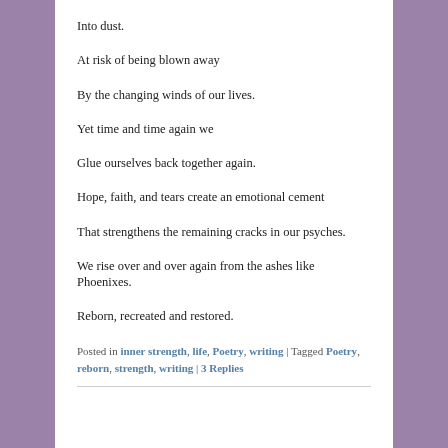Into dust.
At risk of being blown away
By the changing winds of our lives.
Yet time and time again we
Glue ourselves back together again.
Hope, faith, and tears create an emotional cement
That strengthens the remaining cracks in our psyches.
We rise over and over again from the ashes like Phoenixes.
Reborn, recreated and restored.
Posted in inner strength, life, Poetry, writing | Tagged Poetry, reborn, strength, writing | 3 Replies